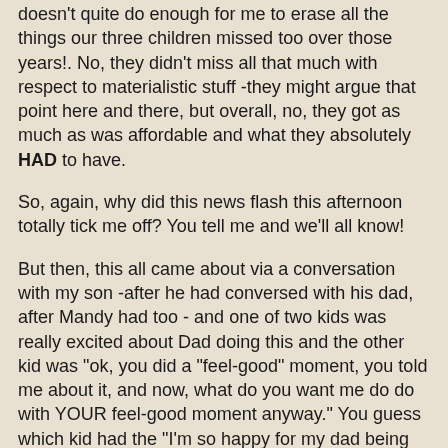doesn't quite do enough for me to erase all the things our three children missed too over those years!. No, they didn't miss all that much with respect to materialistic stuff -they might argue that point here and there, but overall, no, they got as much as was affordable and what they absolutely HAD to have.
So, again, why did this news flash this afternoon totally tick me off? You tell me and we'll all know!
But then, this all came about via a conversation with my son -after he had conversed with his dad, after Mandy had too - and one of two kids was really excited about Dad doing this and the other kid was "ok, you did a "feel-good" moment, you told me about it, and now, what do you want me do do with YOUR feel-good moment anyway." You guess which kid had the "I'm so happy for my dad being such a generous old fart" now and which one was saying "thanks for telling me about that Dad, but in the general pecking order of who ranked and who didn't -well, Mom came and still does come first?"
I don't know if older daughter got the same type of phone...